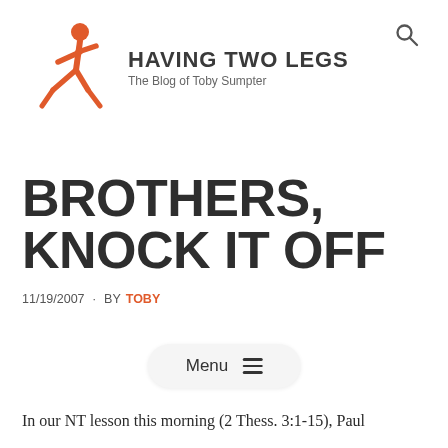[Figure (logo): Orange walking figure icon logo for 'Having Two Legs' blog]
HAVING TWO LEGS
The Blog of Toby Sumpter
BROTHERS, KNOCK IT OFF
11/19/2007 · BY TOBY
In our NT lesson this morning (2 Thess. 3:1-15), Paul